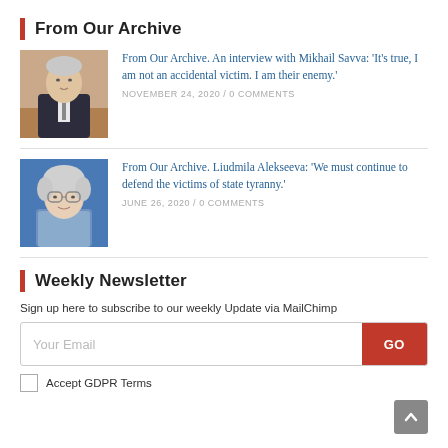From Our Archive
[Figure (photo): Photo of Mikhail Savva, a man in a suit sitting at a desk]
From Our Archive. An interview with Mikhail Savva: 'It's true, I am not an accidental victim. I am their enemy.'
NOVEMBER 24, 2020 / 0 COMMENTS
[Figure (photo): Photo of Liudmila Alekseeva, an elderly woman with grey hair and glasses]
From Our Archive. Liudmila Alekseeva: 'We must continue to defend the victims of state tyranny.'
JUNE 26, 2020 / 0 COMMENTS
Weekly Newsletter
Sign up here to subscribe to our weekly Update via MailChimp
Your Email
GO
Accept GDPR Terms